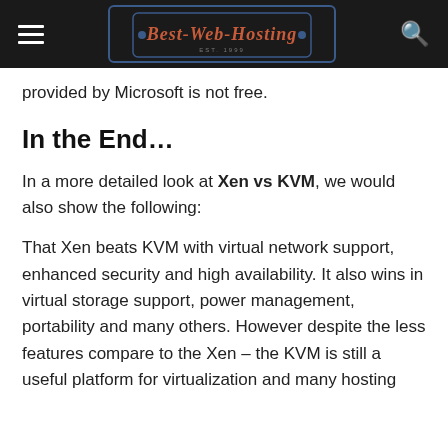Best-Web-Hosting
provided by Microsoft is not free.
In the End…
In a more detailed look at Xen vs KVM, we would also show the following:
That Xen beats KVM with virtual network support, enhanced security and high availability. It also wins in virtual storage support, power management, portability and many others. However despite the less features compare to the Xen – the KVM is still a useful platform for virtualization and many hosting